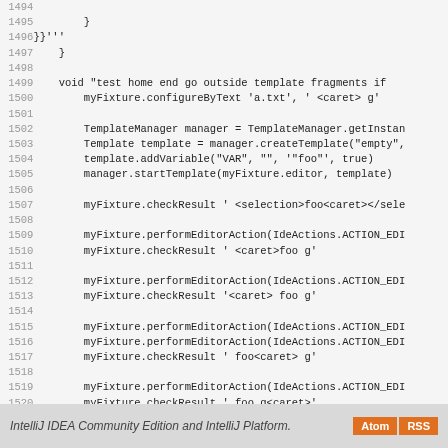Code listing lines 1494-1522 showing Groovy/Java test code for template editor actions
IntelliJ IDEA Community Edition and IntelliJ Platform.  Atom  RSS